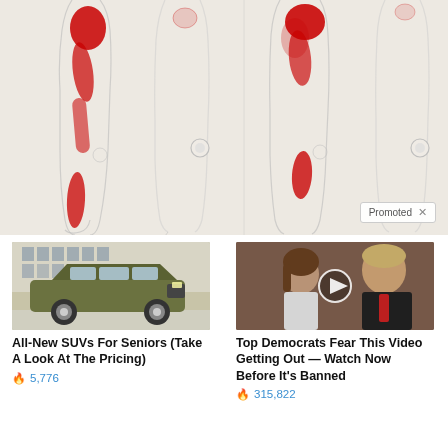[Figure (illustration): Medical/anatomical illustration showing side-view outlines of human legs and bodies with red highlighted areas indicating pain zones — upper thigh/hip and lower calf/shin regions. Multiple figures shown in a grid. 'Promoted' badge with X in bottom-right corner.]
[Figure (photo): Photo of a green/olive colored SUV (large crossover/SUV vehicle) parked on a snowy surface in front of a building with large windows.]
All-New SUVs For Seniors (Take A Look At The Pricing)
🔥 5,776
[Figure (photo): Photo of a woman (Melania Trump) and a man (Donald Trump) at what appears to be a public event. A circular play button overlay is visible in the center of the image.]
Top Democrats Fear This Video Getting Out — Watch Now Before It's Banned
🔥 315,822